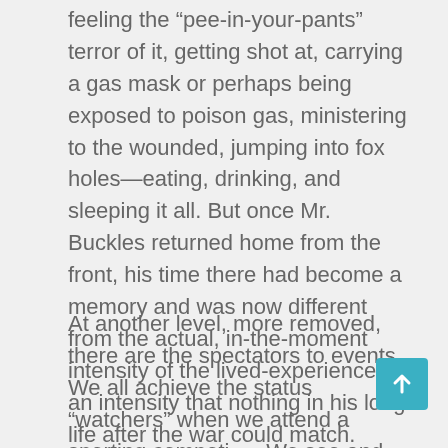feeling the “pee-in-your-pants” terror of it, getting shot at, carrying a gas mask or perhaps being exposed to poison gas, ministering to the wounded, jumping into fox holes—eating, drinking, and sleeping it all. But once Mr. Buckles returned home from the front, his time there had become a memory and was now different from the actual, in-the-moment intensity of the lived-experience, an intensity that nothing in his long life after the war could match.
At another level, more removed, there are the spectators to events. We all achieve the status “watchers” when we attend a sporting competi… We see and hear a good deal of what is happening, even if we don’t ourselves play in the game.